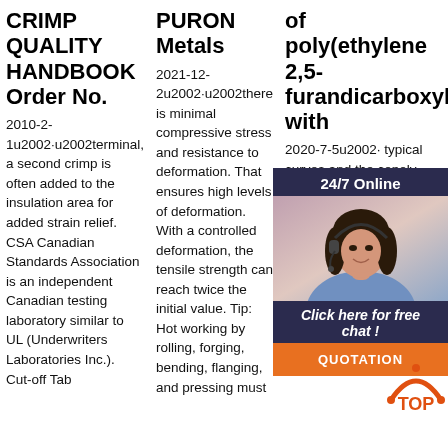CRIMP QUALITY HANDBOOK Order No.
2010-2-1u2002·u2002terminal, a second crimp is often added to the insulation area for added strain relief. CSA Canadian Standards Association is an independent Canadian testing laboratory similar to UL (Underwriters Laboratories Inc.). Cut-off Tab
PURON Metals
2021-12-2u2002·u2002there is minimal compressive stress and resistance to deformation. That ensures high levels of deformation. With a controlled deformation, the tensile strength can reach twice the initial value. Tip: Hot working by rolling, forging, bending, flanging, and pressing must
of poly(ethylene 2,5-furandicarboxylate with
2020-7-5u2002· typical curves and the copoly shown 5(A). The modulu tensile strength at yield (σ y) and break (σ b), and elongation at yield (ε y) and break (ε b) are
[Figure (photo): Customer service chat widget with woman wearing headset, dark navy background, orange QUOTATION button, and '24/7 Online' and 'Click here for free chat!' text]